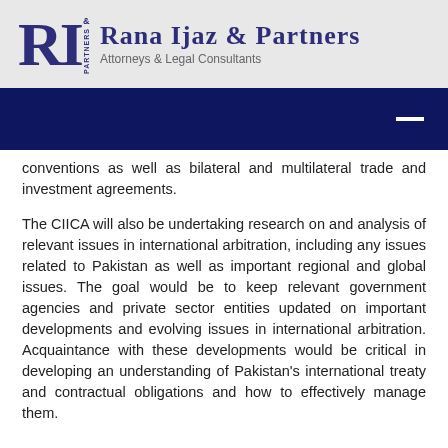[Figure (logo): Rana Ijaz & Partners law firm logo with RI monogram and firm name]
[Figure (other): Dark navy blue decorative bar with white dash/menu icon on right]
conventions as well as bilateral and multilateral trade and investment agreements.
The CIICA will also be undertaking research on and analysis of relevant issues in international arbitration, including any issues related to Pakistan as well as important regional and global issues. The goal would be to keep relevant government agencies and private sector entities updated on important developments and evolving issues in international arbitration. Acquaintance with these developments would be critical in developing an understanding of Pakistan’s international treaty and contractual obligations and how to effectively manage them.